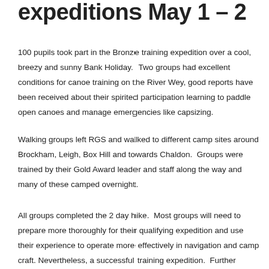expeditions May 1 – 2
100 pupils took part in the Bronze training expedition over a cool, breezy and sunny Bank Holiday.  Two groups had excellent conditions for canoe training on the River Wey, good reports have been received about their spirited participation learning to paddle open canoes and manage emergencies like capsizing.
Walking groups left RGS and walked to different camp sites around Brockham, Leigh, Box Hill and towards Chaldon.  Groups were trained by their Gold Award leader and staff along the way and many of these camped overnight.
All groups completed the 2 day hike.  Most groups will need to prepare more thoroughly for their qualifying expedition and use their experience to operate more effectively in navigation and camp craft. Nevertheless, a successful training expedition.  Further